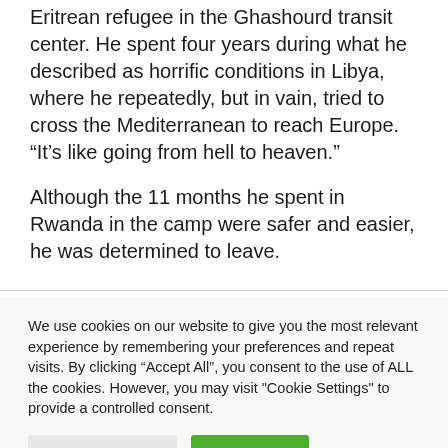Eritrean refugee in the Ghasohourd transit center. He spent four years during what he described as horrific conditions in Libya, where he repeatedly, but in vain, tried to cross the Mediterranean to reach Europe. “It’s like going from hell to heaven.”
Although the 11 months he spent in Rwanda in the camp were safer and easier, he was determined to leave.
We use cookies on our website to give you the most relevant experience by remembering your preferences and repeat visits. By clicking “Accept All”, you consent to the use of ALL the cookies. However, you may visit "Cookie Settings" to provide a controlled consent.